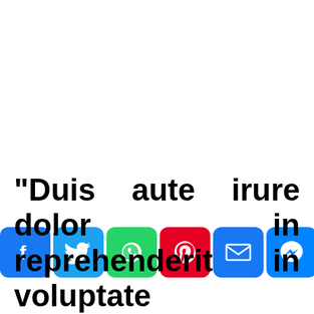“Duis aute irure dolor in reprehenderit in voluptate
[Figure (infographic): Social media sharing buttons: Facebook (blue), Twitter (blue), WhatsApp (green), Pinterest (red), Email (blue), Messenger (blue), Share/More (blue)]